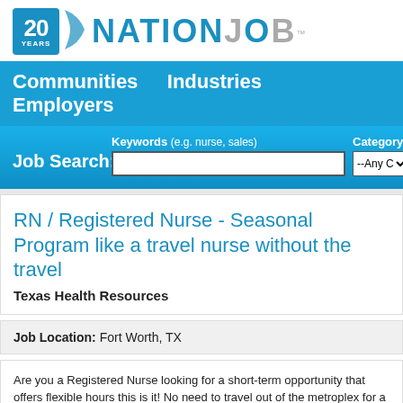[Figure (logo): NationJob 20 Years logo with blue badge, wings, and NATIONJOB text]
Communities   Industries   Employers
Job Search:  Keywords (e.g. nurse, sales)  Category  --Any Ca...
RN / Registered Nurse - Seasonal Program like a travel nurse without the travel
Texas Health Resources
Job Location: Fort Worth, TX
Are you a Registered Nurse looking for a short-term opportunity that offers flexible hours this is it! No need to travel out of the metroplex for a great opportunity. Earn money like a